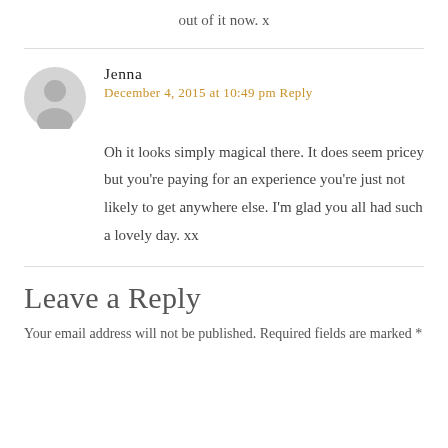out of it now. x
Jenna
December 4, 2015 at 10:49 pm Reply
Oh it looks simply magical there. It does seem pricey but you're paying for an experience you're just not likely to get anywhere else. I'm glad you all had such a lovely day. xx
Leave a Reply
Your email address will not be published. Required fields are marked *